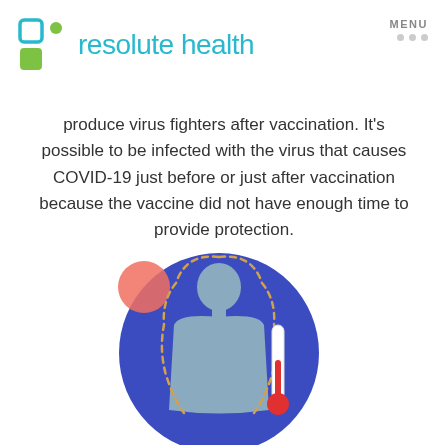resolute health
produce virus fighters after vaccination. It's possible to be infected with the virus that causes COVID-19 just before or just after vaccination because the vaccine did not have enough time to provide protection.
[Figure (illustration): Illustration of a human silhouette inside a blue circle with a dashed outline around the body suggesting a virus/infection path, a thermometer to the right side indicating fever, and a red/salmon circle in the upper left area suggesting a virus particle.]